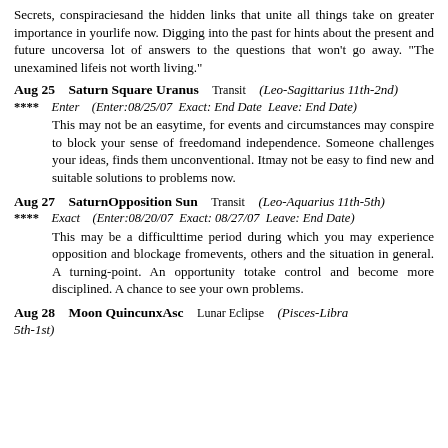Secrets, conspiraciesand the hidden links that unite all things take on greater importance in yourlife now. Digging into the past for hints about the present and future uncoversa lot of answers to the questions that won't go away. "The unexamined lifeis not worth living."
Aug 25   Saturn Square Uranus   Transit   (Leo-Sagittarius 11th-2nd)
****   Enter   (Enter:08/25/07  Exact: End Date  Leave: End Date)
This may not be an easytime, for events and circumstances may conspire to block your sense of freedomand independence. Someone challenges your ideas, finds them unconventional. Itmay not be easy to find new and suitable solutions to problems now.
Aug 27   SaturnOpposition Sun   Transit   (Leo-Aquarius 11th-5th)
****   Exact   (Enter:08/20/07  Exact: 08/27/07  Leave: End Date)
This may be a difficulttime period during which you may experience opposition and blockage fromevents, others and the situation in general. A turning-point. An opportunity totake control and become more disciplined. A chance to see your own problems.
Aug 28   Moon QuincunxAsc   Lunar Eclipse   (Pisces-Libra 5th-1st)